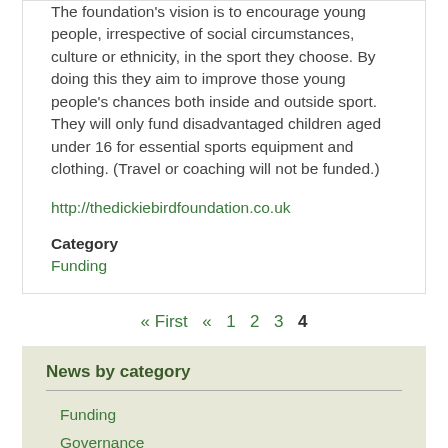The foundation's vision is to encourage young people, irrespective of social circumstances, culture or ethnicity, in the sport they choose. By doing this they aim to improve those young people's chances both inside and outside sport. They will only fund disadvantaged children aged under 16 for essential sports equipment and clothing. (Travel or coaching will not be funded.)
http://thedickiebirdfoundation.co.uk
Category
Funding
« First
«
1
2
3
4
News by category
Funding
Governance
Jobs
Partnerships